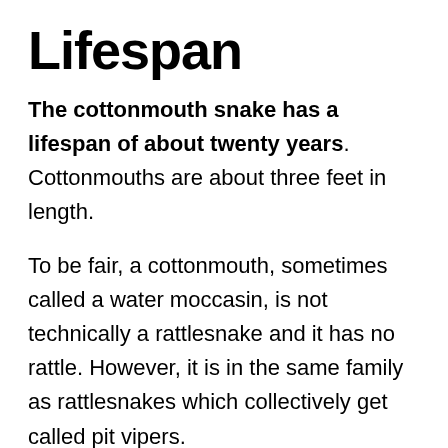Lifespan
The cottonmouth snake has a lifespan of about twenty years. Cottonmouths are about three feet in length.
To be fair, a cottonmouth, sometimes called a water moccasin, is not technically a rattlesnake and it has no rattle. However, it is in the same family as rattlesnakes which collectively get called pit vipers.
Copperheads are part of that family also.
The cottonmouth snake is the only